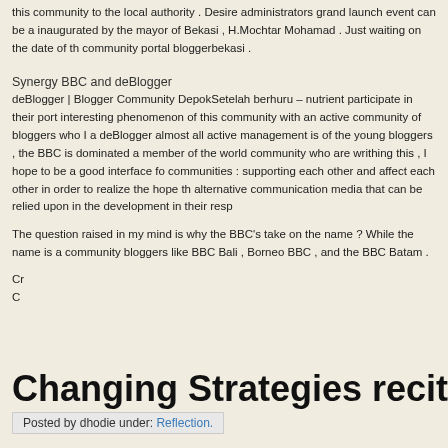this community to the local authority . Desire administrators grand launch event can be a inaugurated by the mayor of Bekasi , H.Mochtar Mohamad . Just waiting on the date of th community portal bloggerbekasi .
Synergy BBC and deBlogger
deBlogger | Blogger Community DepokSetelah berhuru – nutrient participate in their port interesting phenomenon of this community with an active community of bloggers who I a deBlogger almost all active management is of the young bloggers , the BBC is dominated a member of the world community who are writhing this , I hope to be a good interface fo communities : supporting each other and affect each other in order to realize the hope th alternative communication media that can be relied upon in the development in their resp
The question raised in my mind is why the BBC's take on the name ? While the name is community bloggers like BBC Bali , Borneo BBC , and the BBC Batam .
Cr
C
Changing Strategies recitation Ram
Posted by dhodie under: Reflection.
I still remember when I was sitting in 6th grade Emak make special cone for us because could mengkhatamkan Quran for the first time . One small celebration for her parents wh